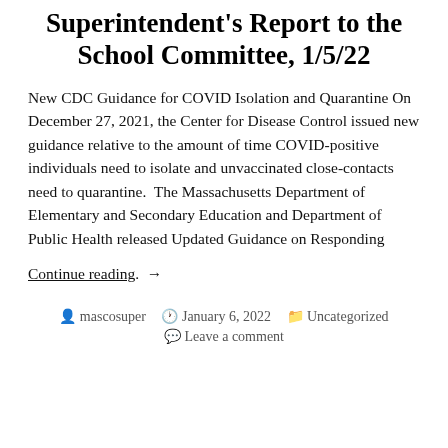Superintendent's Report to the School Committee, 1/5/22
New CDC Guidance for COVID Isolation and Quarantine On December 27, 2021, the Center for Disease Control issued new guidance relative to the amount of time COVID-positive individuals need to isolate and unvaccinated close-contacts need to quarantine.  The Massachusetts Department of Elementary and Secondary Education and Department of Public Health released Updated Guidance on Responding
Continue reading.  →
mascosuper  January 6, 2022  Uncategorized  Leave a comment